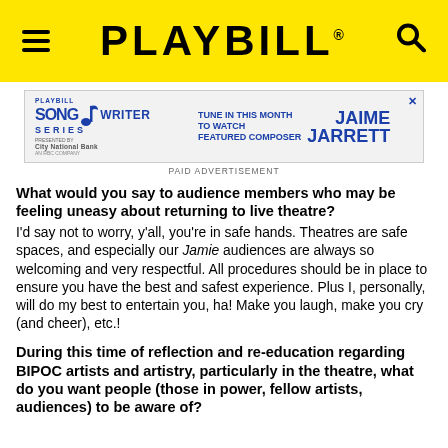PLAYBILL
[Figure (infographic): Playbill Songwriter Series advertisement featuring Jaime Jarrett as featured composer, presented by City National Bank. Text: TUNE IN THIS MONTH TO WATCH FEATURED COMPOSER JAIME JARRETT. PAID ADVERTISEMENT.]
What would you say to audience members who may be feeling uneasy about returning to live theatre?
I'd say not to worry, y'all, you're in safe hands. Theatres are safe spaces, and especially our Jamie audiences are always so welcoming and very respectful. All procedures should be in place to ensure you have the best and safest experience. Plus I, personally, will do my best to entertain you, ha! Make you laugh, make you cry (and cheer), etc.!
During this time of reflection and re-education regarding BIPOC artists and artistry, particularly in the theatre, what do you want people (those in power, fellow artists, audiences) to be aware of?